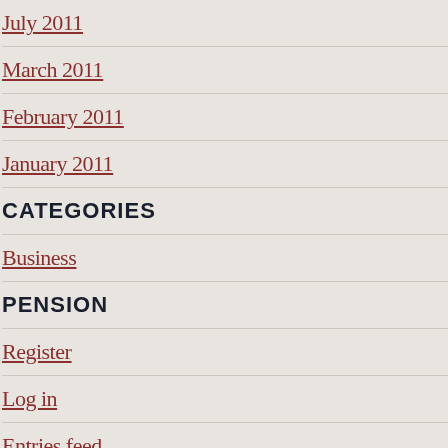July 2011
March 2011
February 2011
January 2011
CATEGORIES
Business
PENSION
Register
Log in
Entries feed